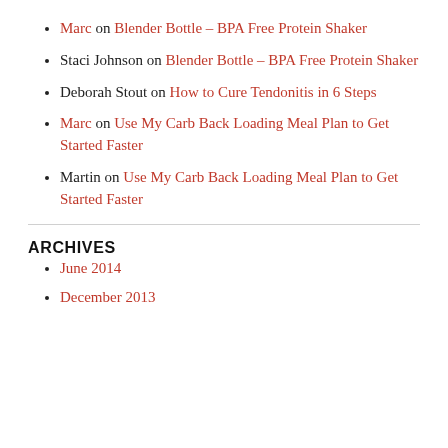Marc on Blender Bottle – BPA Free Protein Shaker
Staci Johnson on Blender Bottle – BPA Free Protein Shaker
Deborah Stout on How to Cure Tendonitis in 6 Steps
Marc on Use My Carb Back Loading Meal Plan to Get Started Faster
Martin on Use My Carb Back Loading Meal Plan to Get Started Faster
ARCHIVES
June 2014
December 2013